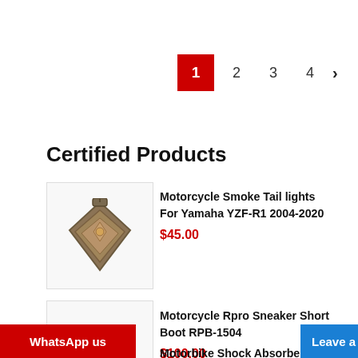[Figure (infographic): Pagination bar showing pages 1 (active, red), 2, 3, 4, and a right arrow]
Certified Products
[Figure (photo): Motorcycle smoke tail light product image - bronze/metallic diamond shape]
Motorcycle Smoke Tail lights For Yamaha YZF-R1 2004-2020
$45.00
[Figure (photo): Motorcycle Rpro Sneaker Short Boot RPB-1504 product image - brown boots]
Motorcycle Rpro Sneaker Short Boot RPB-1504
$100.00
Motorbike Shock Absorber Direction Damper
[Figure (infographic): WhatsApp us red button at bottom left]
[Figure (infographic): Leave a message blue button at bottom right with X close]